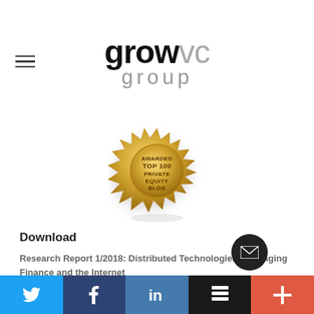growvc group
[Figure (illustration): Gold badge/seal reading 'AWARDED TOP 100 PRIVATE EQUITY BLOG' with decorative starburst border and shadow beneath]
Download
Research Report 1/2018: Distributed Technologies - Changing Finance and the Internet
Research Report 1/2017: Machines, Asia And Fintech:
Rise of Globalization and
Twitter | Facebook | LinkedIn | Buffer | Plus social share buttons